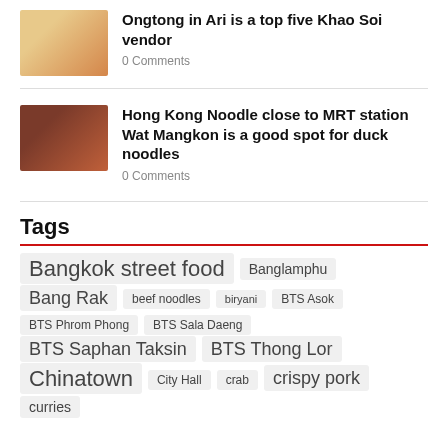[Figure (photo): Thumbnail photo of a bowl of Khao Soi soup]
Ongtong in Ari is a top five Khao Soi vendor
0 Comments
[Figure (photo): Thumbnail photo of a Hong Kong noodle restaurant street scene]
Hong Kong Noodle close to MRT station Wat Mangkon is a good spot for duck noodles
0 Comments
Tags
Bangkok street food
Banglamphu
Bang Rak
beef noodles
biryani
BTS Asok
BTS Phrom Phong
BTS Sala Daeng
BTS Saphan Taksin
BTS Thong Lor
Chinatown
City Hall
crab
crispy pork
curries